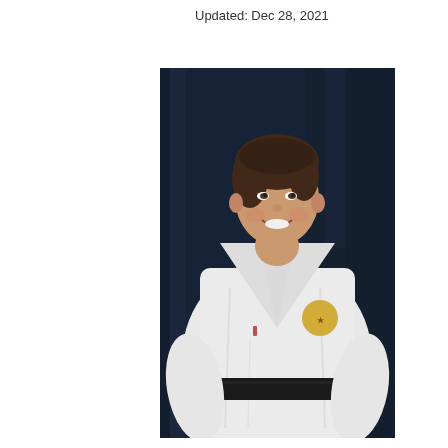Updated: Dec 28, 2021
[Figure (photo): A smiling woman wearing a white karate gi (uniform) with a black belt and a patch/emblem on the chest, photographed against a dark navy blue curtain background.]